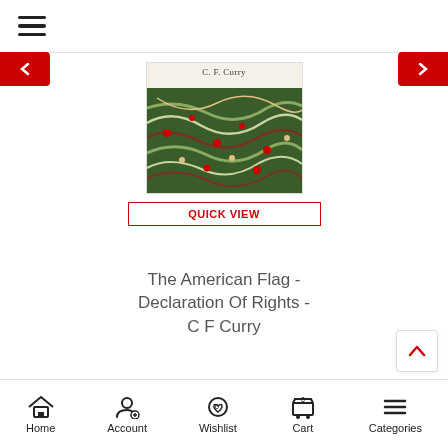[Figure (screenshot): Mobile e-commerce app screenshot showing a book product page for 'The American Flag - Declaration Of Rights - C F Curry']
QUICK VIEW
The American Flag - Declaration Of Rights - C F Curry
Rs.2,096  Rs.2,254
Home  Account  Wishlist  Cart  Categories